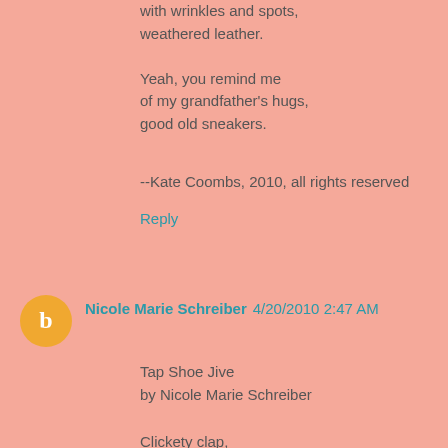with wrinkles and spots,
weathered leather.

Yeah, you remind me
of my grandfather's hugs,
good old sneakers.
--Kate Coombs, 2010, all rights reserved
Reply
Nicole Marie Schreiber  4/20/2010 2:47 AM
Tap Shoe Jive
by Nicole Marie Schreiber

Clickety clap,
Tippity tap,
Hearing myself,
Go snappity snap.
Always moving,
Always grooving.